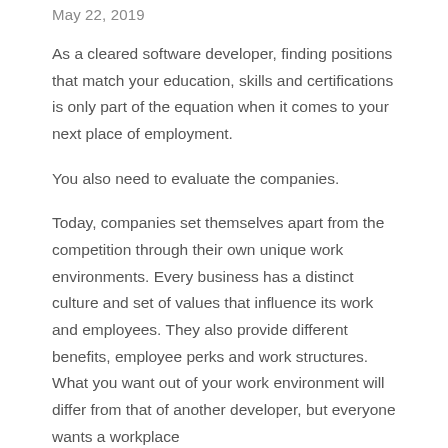May 22, 2019
As a cleared software developer, finding positions that match your education, skills and certifications is only part of the equation when it comes to your next place of employment.
You also need to evaluate the companies.
Today, companies set themselves apart from the competition through their own unique work environments. Every business has a distinct culture and set of values that influence its work and employees. They also provide different benefits, employee perks and work structures. What you want out of your work environment will differ from that of another developer, but everyone wants a workplace